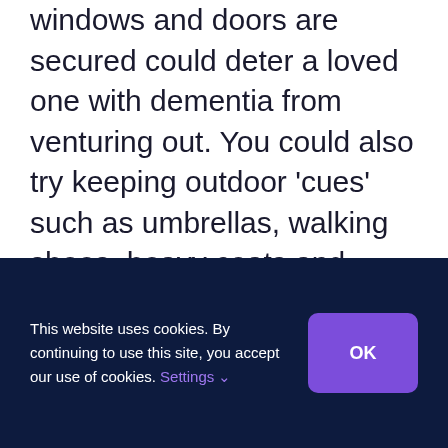It might sound obvious, but making sure windows and doors are secured could deter a loved one with dementia from venturing out. You could also try keeping outdoor 'cues' such as umbrellas, walking shoes, heavy coats and shopping bags out of sight. A curtain over the front door might also help to disguise the door itself (if they can't see it easily, they might forget about it) and also act as a draft excluder.
This website uses cookies. By continuing to use this site, you accept our use of cookies. Settings